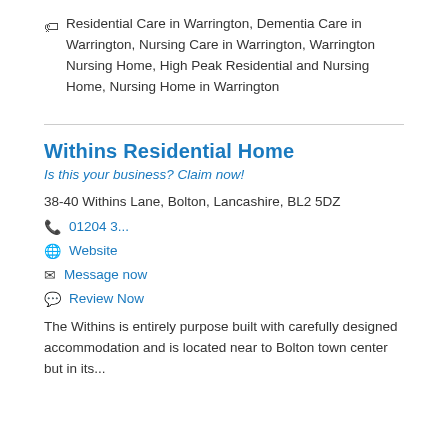Residential Care in Warrington, Dementia Care in Warrington, Nursing Care in Warrington, Warrington Nursing Home, High Peak Residential and Nursing Home, Nursing Home in Warrington
Withins Residential Home
Is this your business? Claim now!
38-40 Withins Lane, Bolton, Lancashire, BL2 5DZ
01204 3...
Website
Message now
Review Now
The Withins is entirely purpose built with carefully designed accommodation and is located near to Bolton town center but in its...